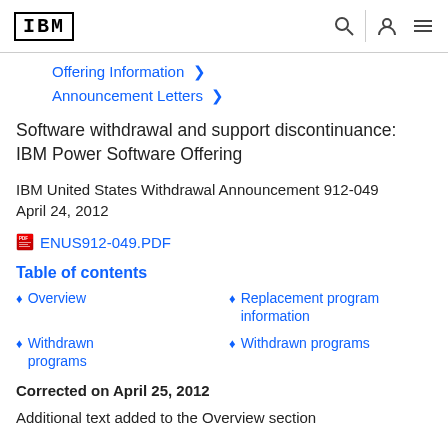IBM
Offering Information >
Announcement Letters >
Software withdrawal and support discontinuance: IBM Power Software Offering
IBM United States Withdrawal Announcement 912-049
April 24, 2012
ENUS912-049.PDF
Table of contents
Overview
Replacement program information
Withdrawn programs
Withdrawn programs
Corrected on April 25, 2012
Additional text added to the Overview section